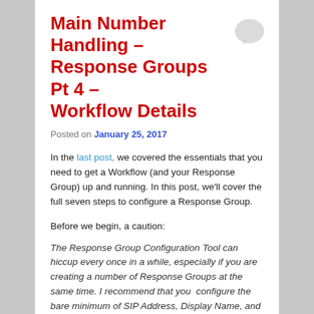Main Number Handling – Response Groups Pt 4 – Workflow Details
Posted on January 25, 2017
In the last post, we covered the essentials that you need to get a Workflow (and your Response Group) up and running. In this post, we'll cover the full seven steps to configure a Response Group.
Before we begin, a caution:
The Response Group Configuration Tool can hiccup every once in a while, especially if you are creating a number of Response Groups at the same time. I recommend that you configure the bare minimum of SIP Address, Display Name, and Queue, then hit save. Come back and edit the Workflow after that.
If you need to step away from the tool mid-build, or have